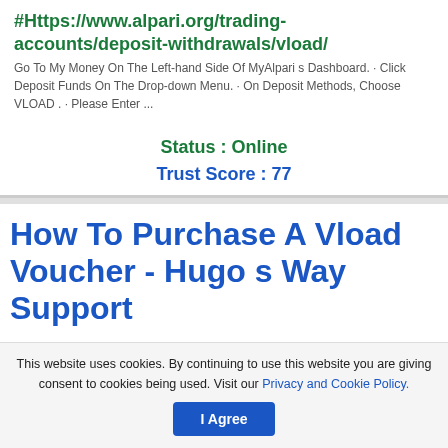#Https://www.alpari.org/trading-accounts/deposit-withdrawals/vload/
Go To My Money On The Left-hand Side Of MyAlpari s Dashboard. · Click Deposit Funds On The Drop-down Menu. · On Deposit Methods, Choose VLOAD . · Please Enter ...
Status : Online
Trust Score : 77
How To Purchase A Vload Voucher - Hugo s Way Support
This website uses cookies. By continuing to use this website you are giving consent to cookies being used. Visit our Privacy and Cookie Policy.